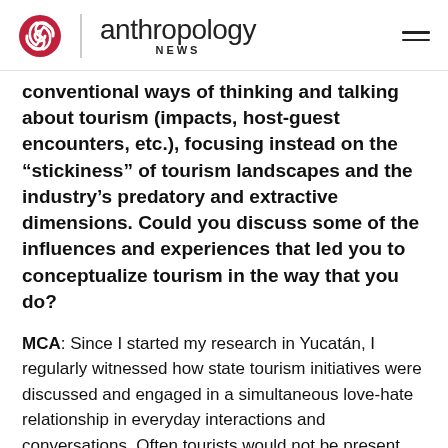anthropology NEWS
conventional ways of thinking and talking about tourism (impacts, host-guest encounters, etc.), focusing instead on the “stickiness” of tourism landscapes and the industry’s predatory and extractive dimensions. Could you discuss some of the influences and experiences that led you to conceptualize tourism in the way that you do?
MCA: Since I started my research in Yucatán, I regularly witnessed how state tourism initiatives were discussed and engaged in a simultaneous love-hate relationship in everyday interactions and conversations. Often tourists would not be present,